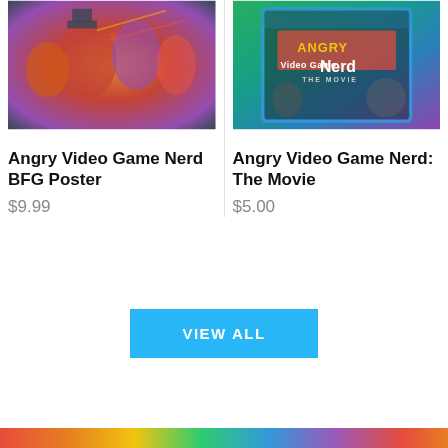[Figure (photo): Product image for Angry Video Game Nerd BFG Poster — colorful action artwork featuring multiple characters]
Angry Video Game Nerd BFG Poster
$9.99
[Figure (photo): Product image for Angry Video Game Nerd: The Movie — Blu-ray cover art with logo and cast]
Angry Video Game Nerd: The Movie
$5.00
VIEW ALL